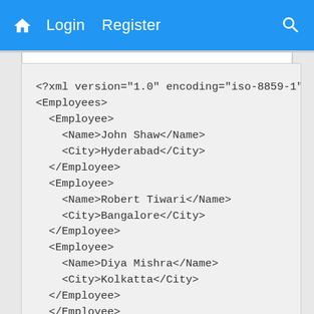Home  Login  Register  Search
<?xml version="1.0" encoding="iso-8859-1" ?>
<Employees>
  <Employee>
    <Name>John Shaw</Name>
    <City>Hyderabad</City>
  </Employee>
  <Employee>
    <Name>Robert Tiwari</Name>
    <City>Bangalore</City>
  </Employee>
  <Employee>
    <Name>Diya Mishra</Name>
    <City>Kolkatta</City>
  </Employee>
  </Employee>